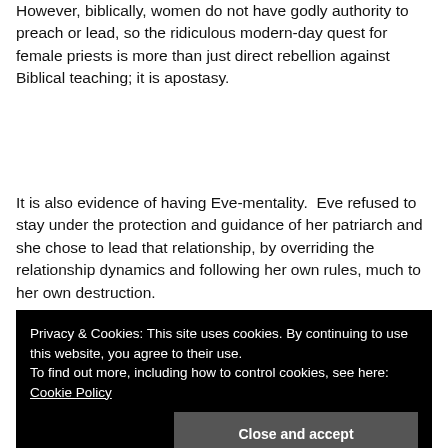However, biblically, women do not have godly authority to preach or lead, so the ridiculous modern-day quest for female priests is more than just direct rebellion against Biblical teaching; it is apostasy.
It is also evidence of having Eve-mentality.  Eve refused to stay under the protection and guidance of her patriarch and she chose to lead that relationship, by overriding the relationship dynamics and following her own rules, much to her own destruction.
Privacy & Cookies: This site uses cookies. By continuing to use this website, you agree to their use.
To find out more, including how to control cookies, see here: Cookie Policy
Close and accept